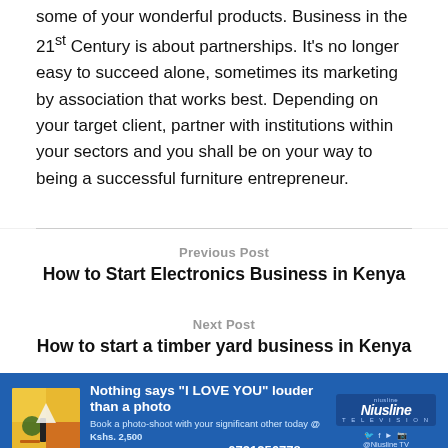some of your wonderful products. Business in the 21st Century is about partnerships. It's no longer easy to succeed alone, sometimes its marketing by association that works best. Depending on your target client, partner with institutions within your sectors and you shall be on your way to being a successful furniture entrepreneur.
Previous Post
How to Start Electronics Business in Kenya
Next Post
How to start a timber yard business in Kenya
[Figure (infographic): Blue advertisement banner for Niusline TV photo shoot promotion. Text: Nothing says "I LOVE YOU" louder than a photo. Book a photo-shoot with your significant other today @ Kshs. 2,500 per hour. Call or WhatsApp Now 0721256778. Niusline TV logo and social media icons on the right.]
ADVERTISEMENT